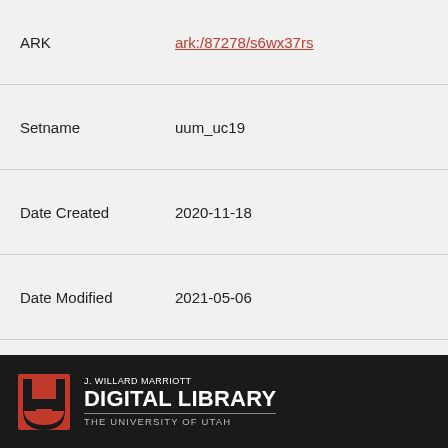| Field | Value |
| --- | --- |
| ARK | ark:/87278/s6wx37rs |
| Setname | uum_uc19 |
| Date Created | 2020-11-18 |
| Date Modified | 2021-05-06 |
| ID | 1611346 |
| Reference URL | https://collections.lib.utah.edu/... |
Back to Search Results
[Figure (logo): J. Willard Marriott Digital Library - The University of Utah logo with red U block symbol on black background]